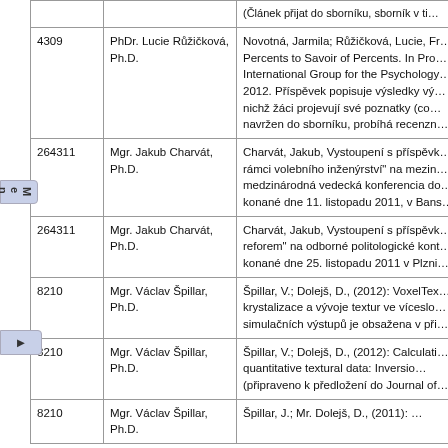| ID | Name | Description |
| --- | --- | --- |
|  |  | (Článek přijat do sborníku, sborník v ti… |
| 4309 | PhDr. Lucie Růžičková, Ph.D. | Novotná, Jarmila; Růžičková, Lucie, Fr… Percents to Savoir of Percents. In Pro… International Group for the Psychology… 2012. Příspěvek popisuje výsledky vý… v nichž žáci projevují své poznatky (co… navržen do sborníku, probíhá recenzn… |
| 264311 | Mgr. Jakub Charvát, Ph.D. | Charvát, Jakub, Vystoupení s příspěvk… rámci volebního inženýrství" na mezin… medzinárodná vedecká konferencia do… konané dne 11. listopadu 2011, v Bans… |
| 264311 | Mgr. Jakub Charvát, Ph.D. | Charvát, Jakub, Vystoupení s příspěvk… reforem" na odborné politologické kont… konané dne 25. listopadu 2011 v Plzni… |
| 8210 | Mgr. Václav Špillar, Ph.D. | Špillar, V.; Dolejš, D., (2012): VoxelTex… krystalizace a vývoje textur ve víceslo… simulačních výstupů je obsažena v při… |
| 8210 | Mgr. Václav Špillar, Ph.D. | Špillar, V.; Dolejš, D., (2012): Calculati… from quantitative textural data: Inversio… (připraveno k předložení do Journal of… |
| 8210 | Mgr. Václav Špillar, Ph.D. | Špillar, J.; Mr. Dolejš, D., (2011): … |